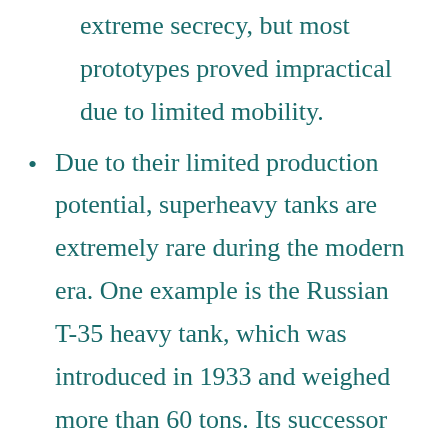designs under the cover of extreme secrecy, but most prototypes proved impractical due to limited mobility.
Due to their limited production potential, superheavy tanks are extremely rare during the modern era. One example is the Russian T-35 heavy tank, which was introduced in 1933 and weighed more than 60 tons. Its successor models were even heavier - reaching nearly 70 tons when fully loaded with ammunition